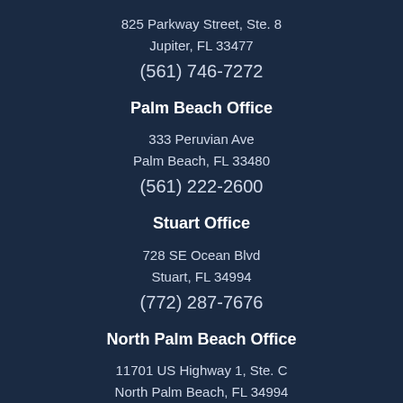825 Parkway Street, Ste. 8
Jupiter, FL 33477
(561) 746-7272
Palm Beach Office
333 Peruvian Ave
Palm Beach, FL 33480
(561) 222-2600
Stuart Office
728 SE Ocean Blvd
Stuart, FL 34994
(772) 287-7676
North Palm Beach Office
11701 US Highway 1, Ste. C
North Palm Beach, FL 34994